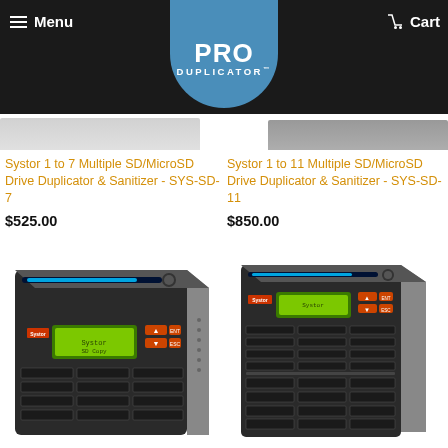Menu | PRO DUPLICATOR | Cart
Systor 1 to 7 Multiple SD/MicroSD Drive Duplicator & Sanitizer - SYS-SD-7
$525.00
Systor 1 to 11 Multiple SD/MicroSD Drive Duplicator & Sanitizer - SYS-SD-11
$850.00
[Figure (photo): Systor SYS-SD-7 SD/MicroSD drive duplicator device, black tower with blue LED, green LCD display, orange buttons, and multiple card slots]
[Figure (photo): Systor SYS-SD-11 SD/MicroSD drive duplicator device, black tower with blue LED, green LCD display, orange buttons, and multiple card slots]